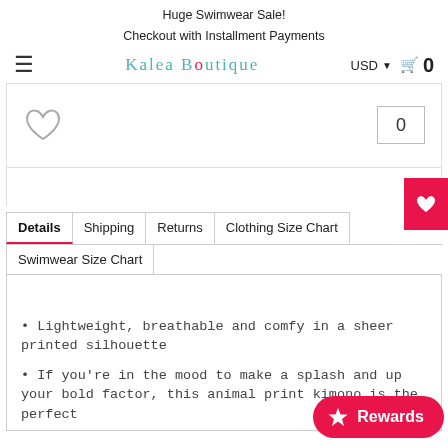Huge Swimwear Sale!
Checkout with Installment Payments
[Figure (screenshot): Kalea Boutique logo with teal text and pink dot]
USD ▾ 🛒 0
[Figure (infographic): Heart (wishlist) icon and quantity box showing 0]
[Figure (infographic): Pink wishlist heart button on right edge]
Details | Shipping | Returns | Clothing Size Chart | Swimwear Size Chart (tabs)
• Lightweight, breathable and comfy in a sheer printed silhouette
• If you're in the mood to make a splash and up your bold factor, this animal print kimono is the perfect
[Figure (infographic): Pink Rewards button with star icon in bottom right]